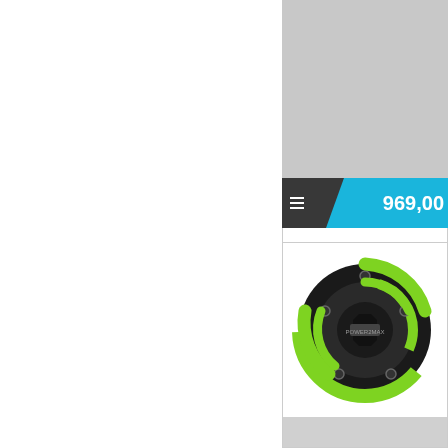[Figure (screenshot): Grey placeholder image area at top right of page, showing a product listing screenshot cropped]
969,00
[Figure (photo): power2max NG MTB Race Face product - a circular bicycle power meter component, black with green accents, viewed from front]
power2max NG MTB Race Face Single Standard...
power2max NG MTB Race Face Single Standard Der NGeco MTB